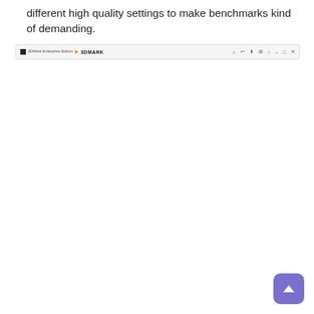different high quality settings to make benchmarks kind of demanding.
[Figure (screenshot): A software application toolbar/header bar for 3DMark benchmark software showing logo on left and control icons on right.]